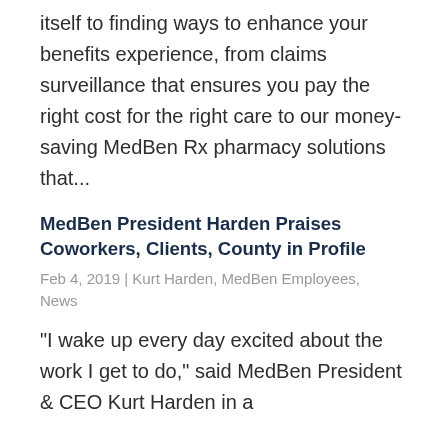itself to finding ways to enhance your benefits experience, from claims surveillance that ensures you pay the right cost for the right care to our money-saving MedBen Rx pharmacy solutions that...
MedBen President Harden Praises Coworkers, Clients, County in Profile
Feb 4, 2019 | Kurt Harden, MedBen Employees, News
“I wake up every day excited about the work I get to do,” said MedBen President & CEO Kurt Harden in a